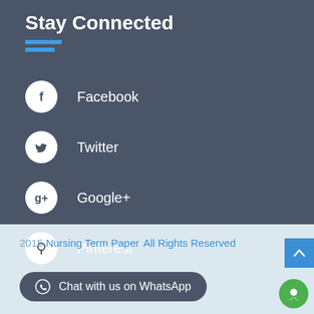Stay Connected
Facebook
Twitter
Google+
Pinterest
2015 Nursing Term Paper  All Rights Reserved
Chat with us on WhatsApp